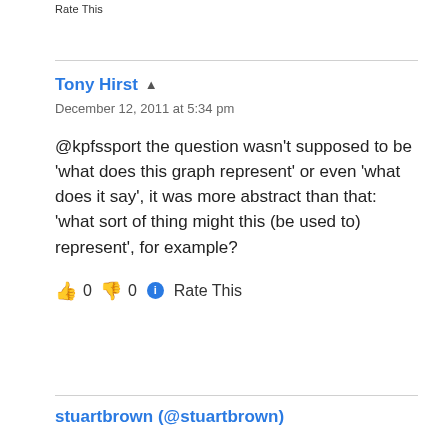Rate This
Tony Hirst ▲
December 12, 2011 at 5:34 pm
@kpfssport the question wasn't supposed to be 'what does this graph represent' or even 'what does it say', it was more abstract than that: 'what sort of thing might this (be used to) represent', for example?
👍 0 👎 0 ℹ Rate This
stuartbrown (@stuartbrown)